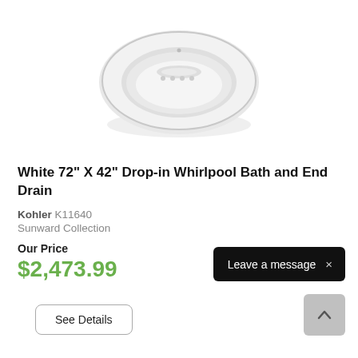[Figure (photo): White oval drop-in whirlpool bathtub viewed from above at a slight angle, showing the interior basin with jets and an integrated armrest or handle area. The tub is white with a light gray shadow beneath it on a white background.]
White 72" X 42" Drop-in Whirlpool Bath and End Drain
Kohler K11640
Sunward Collection
Our Price
$2,473.99
See Details
Leave a message ×